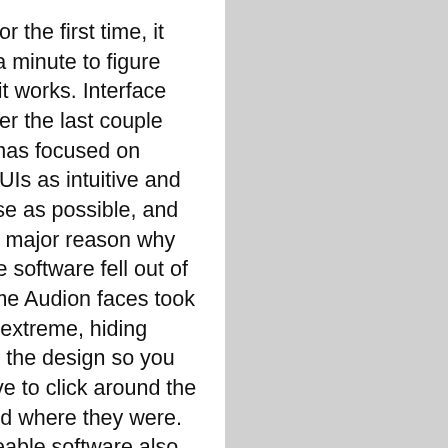seeing it for the first time, it can take a minute to figure how how it works. Interface design over the last couple decades has focused on making GUIs as intuitive and easy to use as possible, and that's one major reason why themeable software fell out of style. Some Audion faces took this to an extreme, hiding buttons in the design so you would have to click around the face to find where they were. But themeable software also allowed for unconventional GUI designs that remained usable while allowing artists to explore new directions for UI design. Contragravity by Margaret Trauth has always stood out to me as a fun face